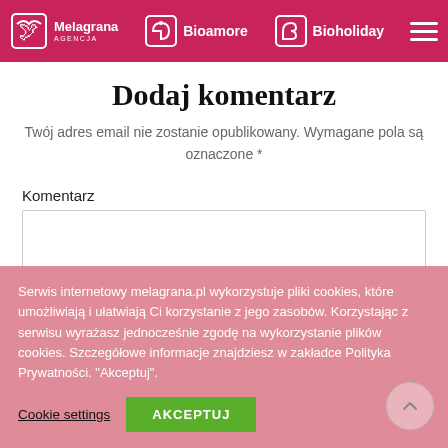Melagrana Agencja | Bioamore | Bioholiday
Dodaj komentarz
Twój adres email nie zostanie opublikowany. Wymagane pola są oznaczone *
Komentarz
Serwis internetowy melagrana.pl wykorzystuje pliki cookies, które umożliwiają i ułatwiają Ci korzystanie z jego zasobów. Korzystając z serwisu wyrażasz jednocześnie zgodę na wykorzystanie plików cookies. Szczegółowe informacje znajdziesz w zakładce Polityka Prywatności. "Akceptuj"
Cookie settings
AKCEPTUJ